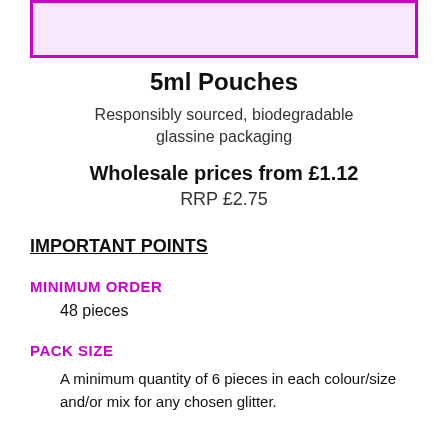[Figure (other): Purple bordered box with light purple fill at top of page]
5ml Pouches
Responsibly sourced, biodegradable glassine packaging
Wholesale prices from £1.12
RRP £2.75
IMPORTANT POINTS
MINIMUM ORDER
48 pieces
PACK SIZE
A minimum quantity of 6 pieces in each colour/size and/or mix for any chosen glitter.